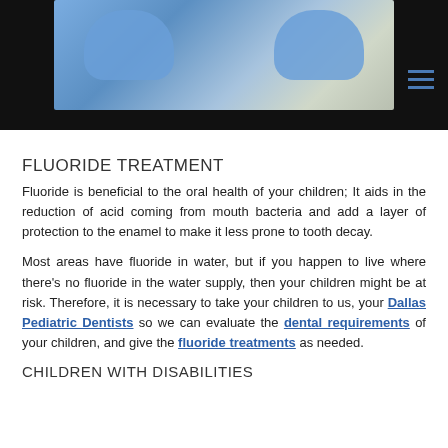[Figure (photo): Screenshot of a dental website header showing a photo of dental professionals in blue gloves performing a procedure, with a dark background and a hamburger menu icon on the right.]
FLUORIDE TREATMENT
Fluoride is beneficial to the oral health of your children; It aids in the reduction of acid coming from mouth bacteria and add a layer of protection to the enamel to make it less prone to tooth decay.
Most areas have fluoride in water, but if you happen to live where there's no fluoride in the water supply, then your children might be at risk. Therefore, it is necessary to take your children to us, your Dallas Pediatric Dentists so we can evaluate the dental requirements of your children, and give the fluoride treatments as needed.
CHILDREN WITH DISABILITIES